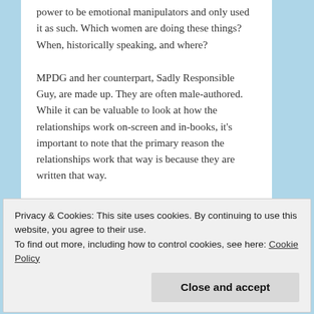power to be emotional manipulators and only used it as such. Which women are doing these things? When, historically speaking, and where?
MPDG and her counterpart, Sadly Responsible Guy, are made up. They are often male-authored. While it can be valuable to look at how the relationships work on-screen and in-books, it's important to note that the primary reason the relationships work that way is because they are written that way.
★ Liked by 3 people
Reply
Privacy & Cookies: This site uses cookies. By continuing to use this website, you agree to their use. To find out more, including how to control cookies, see here: Cookie Policy
Close and accept